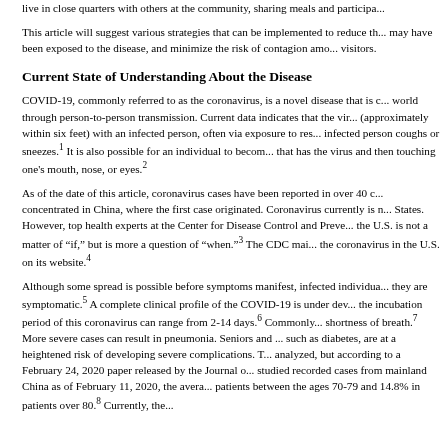live in close quarters with others at the community, sharing meals and participa...
This article will suggest various strategies that can be implemented to reduce th... may have been exposed to the disease, and minimize the risk of contagion amo... visitors.
Current State of Understanding About the Disease
COVID-19, commonly referred to as the coronavirus, is a novel disease that is c... world through person-to-person transmission. Current data indicates that the vir... (approximately within six feet) with an infected person, often via exposure to res... infected person coughs or sneezes.1 It is also possible for an individual to beco... that has the virus and then touching one's mouth, nose, or eyes.2
As of the date of this article, coronavirus cases have been reported in over 40 c... concentrated in China, where the first case originated. Coronavirus currently is n... States. However, top health experts at the Center for Disease Control and Preve... the U.S. is not a matter of “if,” but is more a question of “when.”3 The CDC mai... the coronavirus in the U.S. on its website.4
Although some spread is possible before symptoms manifest, infected individua... they are symptomatic.5 A complete clinical profile of the COVID-19 is under dev... the incubation period of this coronavirus can range from 2-14 days.6 Commonly... shortness of breath.7 More severe cases can result in pneumonia. Seniors and ... such as diabetes, are at a heightened risk of developing severe complications. T... analyzed, but according to a February 24, 2020 paper released by the Journal o... studied recorded cases from mainland China as of February 11, 2020, the avera... patients between the ages 70-79 and 14.8% in patients over 80.8 Currently, the...